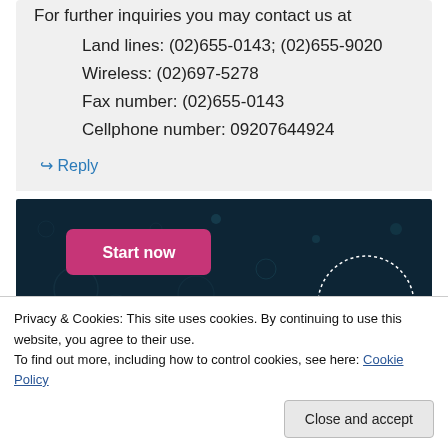For further inquiries you may contact us at
Land lines: (02)655-0143; (02)655-9020
Wireless: (02)697-5278
Fax number: (02)655-0143
Cellphone number: 09207644924
↪ Reply
[Figure (screenshot): Advertisement banner with dark navy background, dotted circle patterns, a pink 'Start now' button, and a CrowdU logo]
Privacy & Cookies: This site uses cookies. By continuing to use this website, you agree to their use.
To find out more, including how to control cookies, see here: Cookie Policy
Close and accept